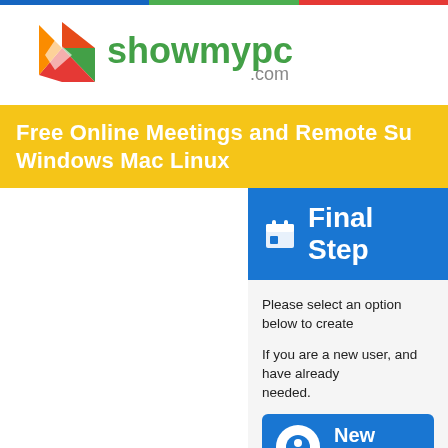[Figure (logo): ShowMyPC.com logo with colorful diamond/arrow icon on left and green text 'showmypc' with '.com' in gray]
Free Online Meetings and Remote Su Windows Mac Linux
Final Step
Please select an option below to create
If you are a new user, and have already needed.
New Users
Existing U...